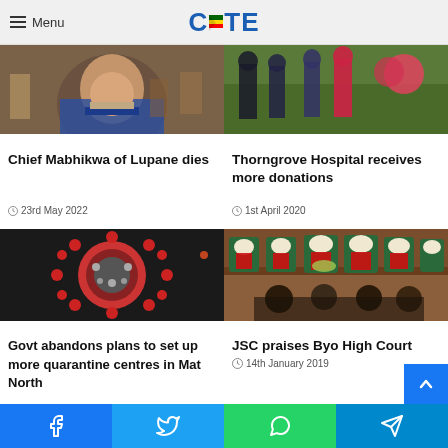Menu | CITE
[Figure (photo): Close-up photo of a man in a blue suit and tie at an outdoor gathering]
Chief Mabhikwa of Lupane dies
23rd May 2022
[Figure (photo): People standing outdoors, men in suits and women in colorful attire, appearing to exchange items]
Thorngrove Hospital receives more donations
1st April 2020
[Figure (photo): 3D illustration of a coronavirus (COVID-19) particle on dark background]
Govt abandons plans to set up more quarantine centres in Mat North
[Figure (photo): Judges and magistrates in wigs and robes seated at a court bench, Bulawayo High Court]
JSC praises Byo High Court
14th January 2019
Facebook | Twitter | WhatsApp | Telegram